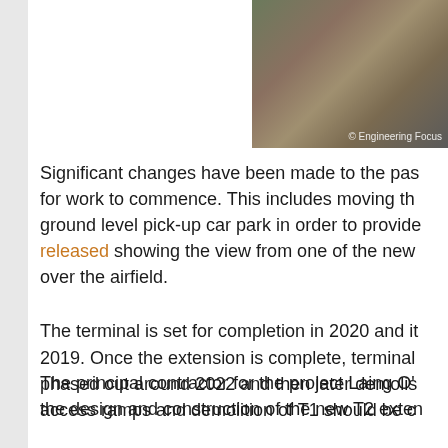[Figure (photo): Aerial or ground-level construction site photo with an '© Engineering Focus' watermark overlay in the bottom right corner]
Significant changes have been made to the passenger terminal in order for work to commence. This includes moving the check-in to a new ground level pick-up car park in order to provide... released showing the view from one of the new... over the airfield.
The terminal is set for completion in 2020 and it... 2019. Once the extension is complete, terminal... phased out around 2022 and then later demolis... access ramps and demolition of T1 should be c...
The principal contractor for the project Laing O'... the design and construction of the new T2 exten...